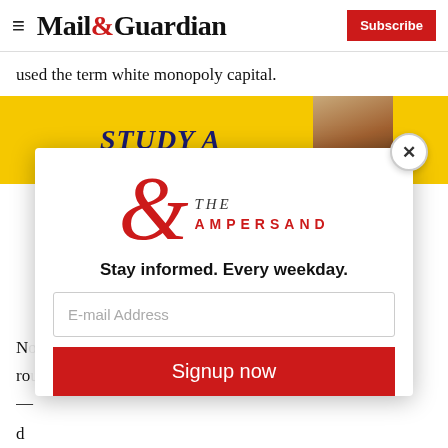Mail&Guardian — Subscribe
used the term white monopoly capital.
[Figure (photo): A yellow book cover showing the text 'STUDY A' with a person's face visible in the background.]
[Figure (screenshot): Modal popup with ampersand logo reading 'THE AMPERSAND', tagline 'Stay informed. Every weekday.', an email address input field, and a red 'Signup now' button. A close (X) button is in the top right corner.]
N... e ro... er — d...